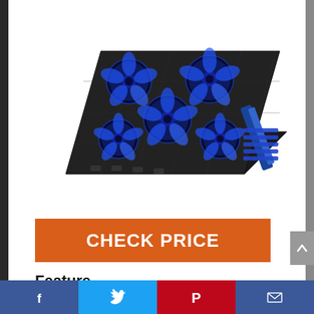[Figure (photo): Laptop cooling pad with 5 blue LED fans, tilted at an angle showing the mesh surface and the blue-lit stand/hinge mechanism on the right side. Black device on white background.]
CHECK PRICE
Feature
Super quiet fans create a noise-free
Facebook | Twitter | Pinterest | Email